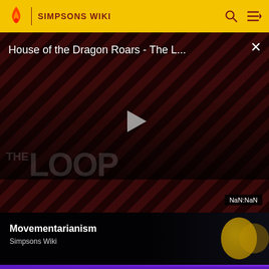SIMPSONS WIKI
[Figure (screenshot): Video player showing 'House of the Dragon Roars - The L...' with diagonal red/dark stripes background, two people visible, play button in center, THE LOOP text watermark, NaN:NaN duration badge, and X close button]
House of the Dragon Roars - The L...
NaN:NaN
Movementarianism
Simpsons Wiki
[Figure (screenshot): Simpsons logo card on purple background with yellow character visible]